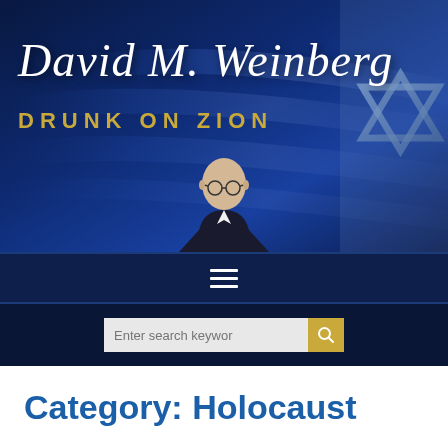[Figure (screenshot): Website header banner for 'David M. Weinberg - Drunk on Zion' blog featuring Israeli flag background with Star of David, author photo, and site name in decorative script with gold subtitle text]
[Figure (other): Navigation bar with hamburger menu icon (three horizontal white lines) on dark navy background]
[Figure (other): Search bar with text input 'Enter search keywor' and gold search button with magnifying glass icon on dark navy background]
Category: Holocaust